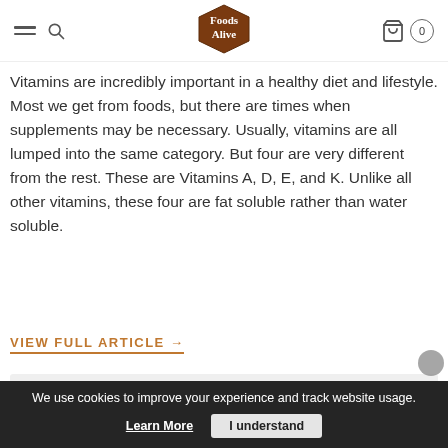Foods Alive — navigation header with logo, hamburger menu, search, and cart (0)
Vitamins are incredibly important in a healthy diet and lifestyle. Most we get from foods, but there are times when supplements may be necessary. Usually, vitamins are all lumped into the same category. But four are very different from the rest. These are Vitamins A, D, E, and K. Unlike all other vitamins, these four are fat soluble rather than water soluble.
VIEW FULL ARTICLE →
[Figure (other): Gray card/image block (partially visible)]
We use cookies to improve your experience and track website usage.
Learn More   I understand